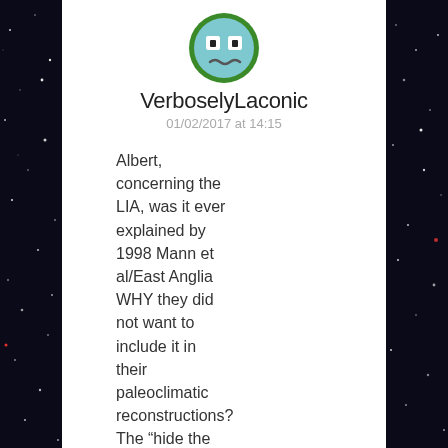[Figure (illustration): Round avatar icon with green border showing a blue cartoon ghost/robot face with wide eyes and a wavy mouth]
VerboselyLaconic
01/02/2017 at 14:15
Albert, concerning the LIA, was it ever explained by 1998 Mann et al/East Anglia WHY they did not want to include it in their paleoclimatic reconstructions? The “hide the decline ™” moment, as well as the “Mike’s Nature